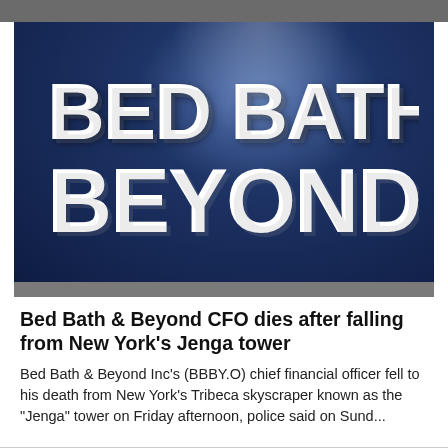[Figure (photo): Bed Bath & Beyond 3D logo sign with white block letters on a dark blue background with a spotlight effect.]
Bed Bath & Beyond CFO dies after falling from New York's Jenga tower
Bed Bath & Beyond Inc's (BBBY.O) chief financial officer fell to his death from New York's Tribeca skyscraper known as the "Jenga" tower on Friday afternoon, police said on Sund...